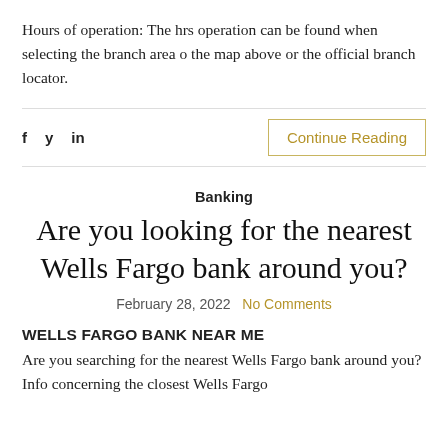Hours of operation: The hrs operation can be found when selecting the branch area o the map above or the official branch locator.
f  y  in      Continue Reading
Banking
Are you looking for the nearest Wells Fargo bank around you?
February 28, 2022  No Comments
WELLS FARGO BANK NEAR ME
Are you searching for the nearest Wells Fargo bank around you? Info concerning the closest Wells Fargo